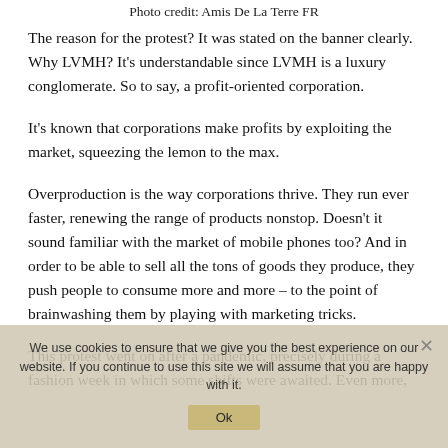Photo credit: Amis De La Terre FR
The reason for the protest? It was stated on the banner clearly. Why LVMH? It's understandable since LVMH is a luxury conglomerate. So to say, a profit-oriented corporation.
It's known that corporations make profits by exploiting the market, squeezing the lemon to the max.
Overproduction is the way corporations thrive. They run ever faster, renewing the range of products nonstop. Doesn't it sound familiar with the market of mobile phones too? And in order to be able to sell all the tons of goods they produce, they push people to consume more and more – to the point of brainwashing them by playing with marketing tricks.
This protest went on after a pandemic, precisely during a fashion week in which some shifts were awaited. Even more,
We use cookies to ensure that we give you the best experience on our website. If you continue to use this site we will assume that you are happy with it.